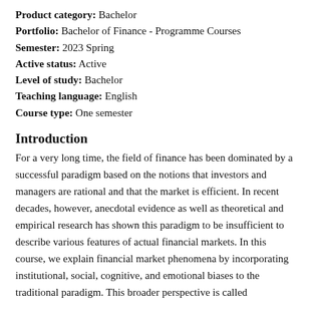Product category: Bachelor
Portfolio: Bachelor of Finance - Programme Courses
Semester: 2023 Spring
Active status: Active
Level of study: Bachelor
Teaching language: English
Course type: One semester
Introduction
For a very long time, the field of finance has been dominated by a successful paradigm based on the notions that investors and managers are rational and that the market is efficient. In recent decades, however, anecdotal evidence as well as theoretical and empirical research has shown this paradigm to be insufficient to describe various features of actual financial markets. In this course, we explain financial market phenomena by incorporating institutional, social, cognitive, and emotional biases to the traditional paradigm. This broader perspective is called